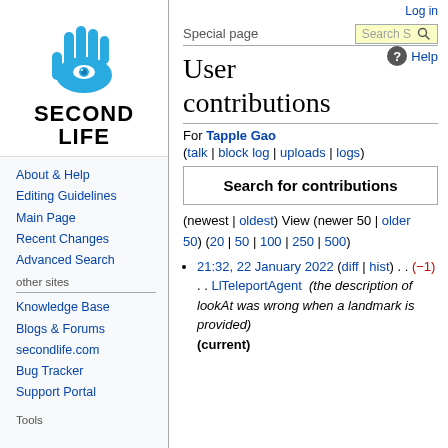[Figure (logo): Second Life logo: hand with eye in palm, blue on white, with 'SECOND LIFE' text below in black bold]
About & Help
Editing Guidelines
Main Page
Recent Changes
Advanced Search
other sites
Knowledge Base
Blogs & Forums
secondlife.com
Bug Tracker
Support Portal
Tools
Log in
Special page
User contributions
For Tapple Gao (talk | block log | uploads | logs)
Search for contributions
(newest | oldest) View (newer 50 | older 50) (20 | 50 | 100 | 250 | 500)
21:32, 22 January 2022 (diff | hist) . . (−1) . . LlTeleportAgent (the description of lookAt was wrong when a landmark is provided) (current)